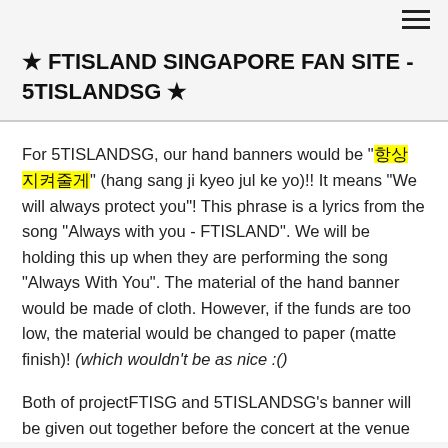☰ (hamburger menu icon)
★ FTISLAND SINGAPORE FAN SITE - 5TISLANDSG ★
For 5TISLANDSG, our hand banners would be "항상 지켜줄게" (hang sang ji kyeo jul ke yo)!! It means "We will always protect you"! This phrase is a lyrics from the song "Always with you - FTISLAND". We will be holding this up when they are performing the song "Always With You". The material of the hand banner would be made of cloth. However, if the funds are too low, the material would be changed to paper (matte finish)! (which wouldn't be as nice :()
Both of projectFTISG and 5TISLANDSG's banner will be given out together before the concert at the venue